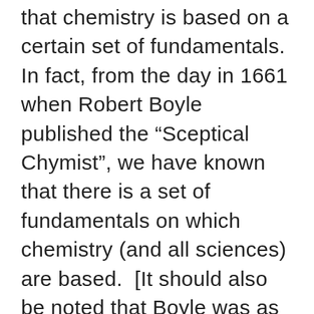that chemistry is based on a certain set of fundamentals.  In fact, from the day in 1661 when Robert Boyle published the “Sceptical Chymist”, we have known that there is a set of fundamentals on which chemistry (and all sciences) are based.  [It should also be noted that Boyle was as well known for writings on theology as he was for his scientific endeavors.]  But over the years, our understanding of those fundamentals has changed.